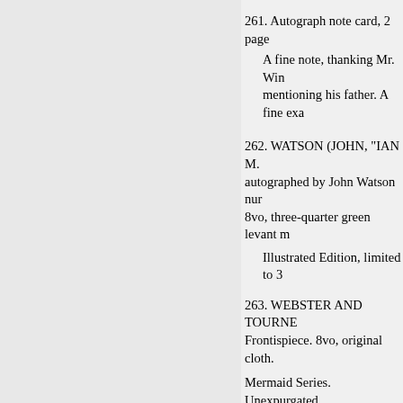261. Autograph note card, 2 page
A fine note, thanking Mr. Win… mentioning his father. A fine exa…
262. WATSON (JOHN, "IAN M… autographed by John Watson nur… 8vo, three-quarter green levant m…
Illustrated Edition, limited to 3…
263. WEBSTER AND TOURNE… Frontispiece. 8vo, original cloth.
Mermaid Series. Unexpurgated.
264. WHIPPLE (E. P., Celebra…
Relating to Mr. Winter's essay…
265. WHISTLER (JAMES A. M… morocco, sides blind and gilt too…
266. WILLIS (NATHANIEL PA…